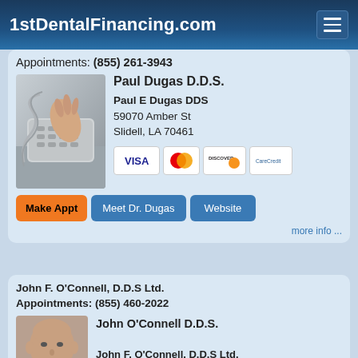1stDentalFinancing.com
Appointments: (855) 261-3943
[Figure (photo): Hand dialing a telephone keypad]
Paul Dugas D.D.S.
Paul E Dugas DDS
59070 Amber St
Slidell, LA 70461
[Figure (other): Payment method icons: VISA, MasterCard, Discover, CareCredit]
Make Appt   Meet Dr. Dugas   Website
more info ...
John F. O'Connell, D.D.S Ltd.
Appointments: (855) 460-2022
[Figure (photo): Portrait photo of John O'Connell D.D.S.]
John O'Connell D.D.S.
John F. O'Connell, D.D.S Ltd.
930 North York Rd, Suite 120
Hinsdale, IL 60521